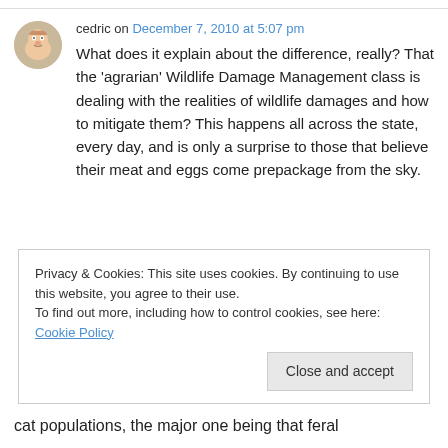cedric on December 7, 2010 at 5:07 pm
What does it explain about the difference, really? That the ‘agrarian’ Wildlife Damage Management class is dealing with the realities of wildlife damages and how to mitigate them? This happens all across the state, every day, and is only a surprise to those that believe their meat and eggs come prepackage from the sky.
Privacy & Cookies: This site uses cookies. By continuing to use this website, you agree to their use. To find out more, including how to control cookies, see here: Cookie Policy
Close and accept
cat populations, the major one being that feral